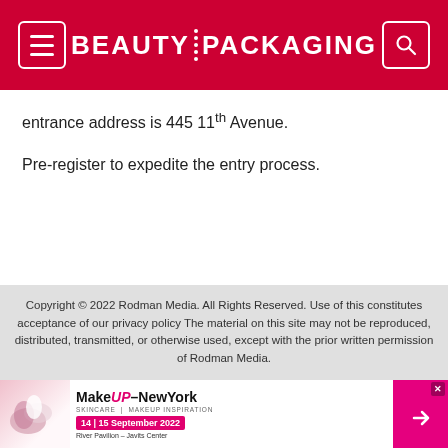BEAUTY PACKAGING
entrance address is 445 11th Avenue.
Pre-register to expedite the entry process.
Copyright © 2022 Rodman Media. All Rights Reserved. Use of this constitutes acceptance of our privacy policy The material on this site may not be reproduced, distributed, transmitted, or otherwise used, except with the prior written permission of Rodman Media.
[Figure (infographic): MakeUP-NewYork advertisement banner: 14|15 September 2022, River Pavilion - Javits Center]